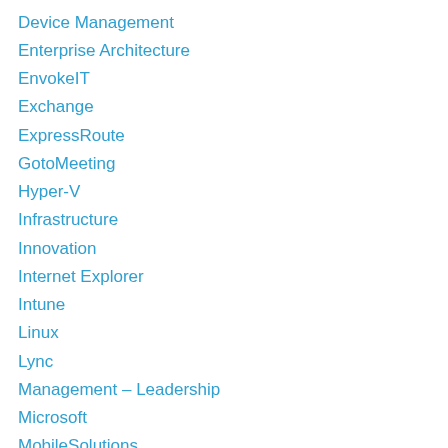Device Management
Enterprise Architecture
EnvokeIT
Exchange
ExpressRoute
GotoMeeting
Hyper-V
Infrastructure
Innovation
Internet Explorer
Intune
Linux
Lync
Management – Leadership
Microsoft
MobileSolutions
Mobility
NetApp
NetScaler
Networking